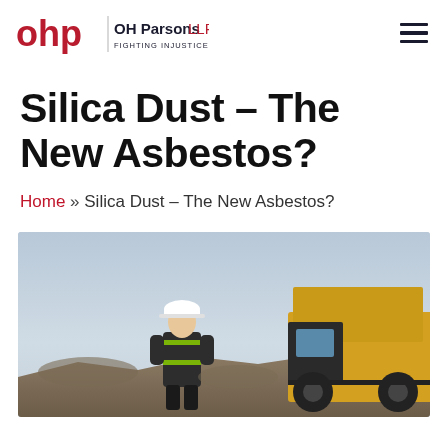OH Parsons LLP — FIGHTING INJUSTICE SINCE 1946
Silica Dust – The New Asbestos?
Home » Silica Dust – The New Asbestos?
[Figure (photo): A construction worker in a white hard hat and high-visibility vest standing near a large yellow dump truck at a mining or quarry site, viewed from behind, with a pale sky background.]